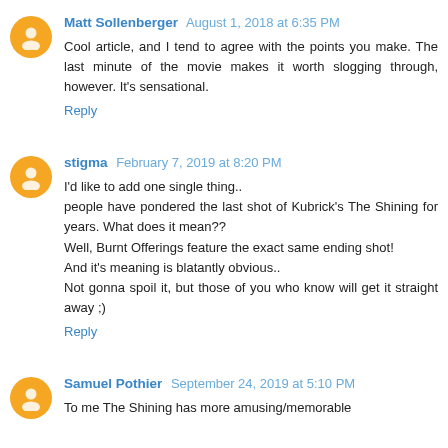Matt Sollenberger  August 1, 2018 at 6:35 PM
Cool article, and I tend to agree with the points you make. The last minute of the movie makes it worth slogging through, however. It's sensational.
Reply
stigma  February 7, 2019 at 8:20 PM
I'd like to add one single thing..
people have pondered the last shot of Kubrick's The Shining for years. What does it mean??
Well, Burnt Offerings feature the exact same ending shot!
And it's meaning is blatantly obvious..
Not gonna spoil it, but those of you who know will get it straight away ;)
Reply
Samuel Pothier  September 24, 2019 at 5:10 PM
To me The Shining has more amusing/memorable